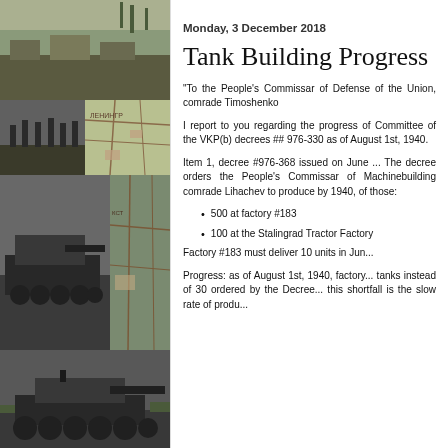[Figure (photo): Collage of black and white historical photographs of tanks and soldiers, plus a map.]
Monday, 3 December 2018
Tank Building Progress
"To the People's Commissar of Defense of the Union, comrade Timoshenko
I report to you regarding the progress of Committee of the VKP(b) decrees ## 976- 330 as of August 1st, 1940.
Item 1, decree #976-368 issued on June ... The decree orders the People's Commissar of Machinebuilding comrade Lihachev to produce by 1940, of those:
500 at factory #183
100 at the Stalingrad Tractor Factory
Factory #183 must deliver 10 units in Jun...
Progress: as of August 1st, 1940, factory... tanks instead of 30 ordered by the Decree... this shortfall is the slow rate of produ...